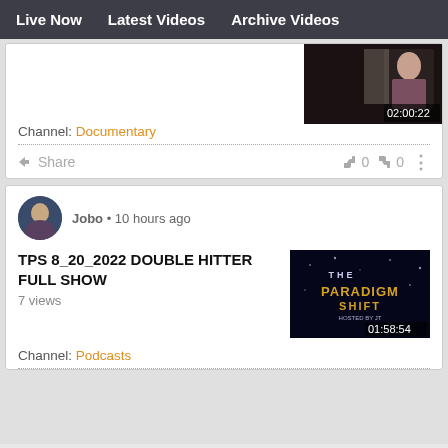Live Now   Latest Videos   Archive Videos
Channel: Documentary
Share   0   0
Jobo • 10 hours ago
TPS 8_20_2022 DOUBLE HITTER FULL SHOW
7 views
Channel: Podcasts